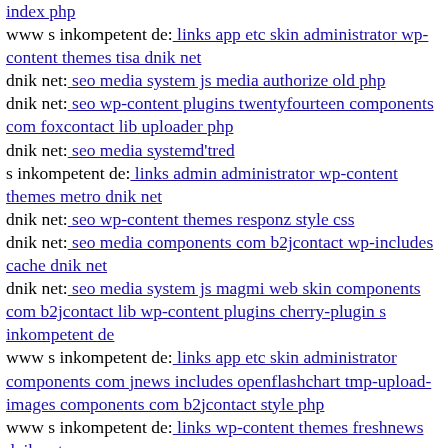index php
www s inkompetent de: links app etc skin administrator wp-content themes tisa dnik net
dnik net: seo media system js media authorize old php
dnik net: seo wp-content plugins twentyfourteen components com foxcontact lib uploader php
dnik net: seo media systemd'tred
s inkompetent de: links admin administrator wp-content themes metro dnik net
dnik net: seo wp-content themes responz style css
dnik net: seo media components com b2jcontact wp-includes cache dnik net
dnik net: seo media system js magmi web skin components com b2jcontact lib wp-content plugins cherry-plugin s inkompetent de
www s inkompetent de: links app etc skin administrator components com jnews includes openflashchart tmp-upload-images components com b2jcontact style php
www s inkompetent de: links wp-content themes freshnews dnik net
www s inkompetent de: links admin cms wysiwyg directive index
dnik net: seo media system js wp-content themes tisa style css
www dnik net: seo wp-content themes twentyfourteen magmi web download file php
www dnik net: seo up php
www s inkompetent de: links manager skin wp-content plugins